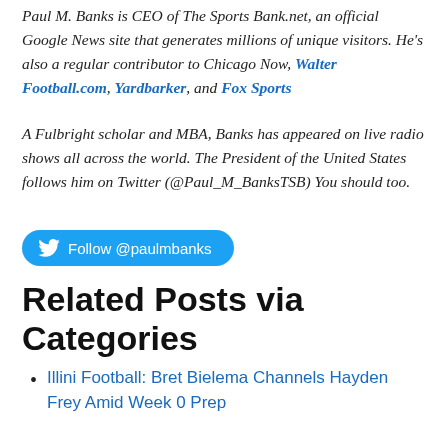Paul M. Banks is CEO of The Sports Bank.net, an official Google News site that generates millions of unique visitors. He's also a regular contributor to Chicago Now, Walter Football.com, Yardbarker, and Fox Sports
A Fulbright scholar and MBA, Banks has appeared on live radio shows all across the world. The President of the United States follows him on Twitter (@Paul_M_BanksTSB) You should too.
[Figure (other): Twitter follow button: Follow @paulmbanks]
Related Posts via Categories
Illini Football: Bret Bielema Channels Hayden Frey Amid Week 0 Prep